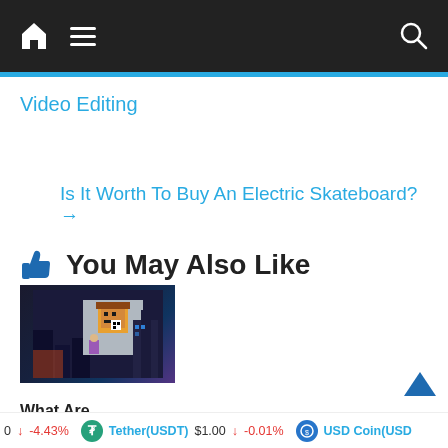Navigation bar with home icon, hamburger menu, and search icon
Video Editing
Is It Worth To Buy An Electric Skateboard? →
👍 You May Also Like
[Figure (photo): NFT-related image showing a pixel art character on a billboard in a city street at night]
What Are NFTs and Why Are
0 ↓ -4.43%   Tether(USDT) $1.00 ↓ -0.01%   USD Coin(USD